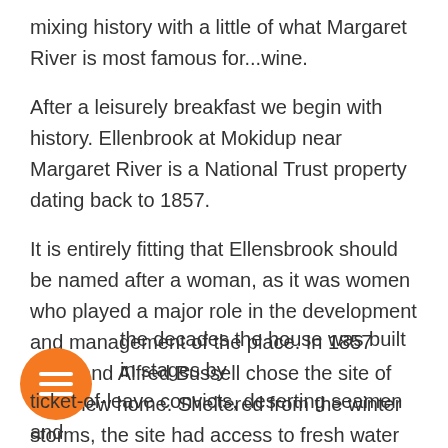mixing history with a little of what Margaret River is most famous for...wine.
After a leisurely breakfast we begin with history. Ellenbrook at Mokidup near Margaret River is a National Trust property dating back to 1857.
It is entirely fitting that Ellensbrook should be named after a woman, as it was women who played a major role in the development and management of the place. In 1857 Ellen and Alfred Bussell chose the site of their new home. Sheltered from the winter storms, the site had access to fresh water and was surrounded by fertile soil.
Over the decades the house was built in stages by ticket-of-leave convicts, deserting seamen and